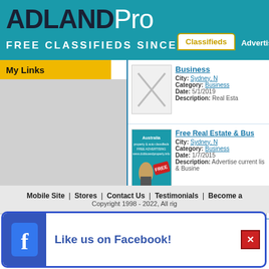ADLANDPro FREE CLASSIFIEDS SINCE 1998
My Links
Classifieds | Advertise
Business
City: Sydney, N
Category: Business
Date: 5/1/2019
Description: Real Esta
Free Real Estate & Bus
City: Sydney, N
Category: Business
Date: 1/7/2015
Description: Advertise current lis & Busine
Mobile Site | Stores | Contact Us | Testimonials | Become a
Copyright 1998 - 2022, All rig
Like us on Facebook!